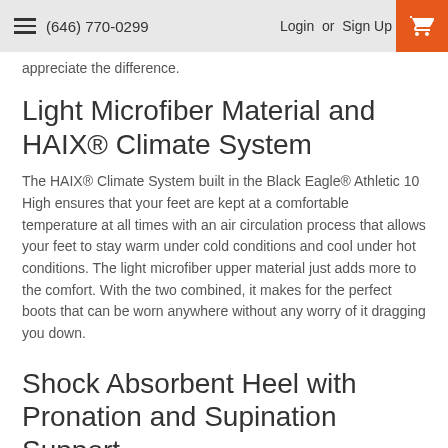(646) 770-0299  Login or Sign Up
appreciate the difference.
Light Microfiber Material and HAIX® Climate System
The HAIX® Climate System built in the Black Eagle® Athletic 10 High ensures that your feet are kept at a comfortable temperature at all times with an air circulation process that allows your feet to stay warm under cold conditions and cool under hot conditions. The light microfiber upper material just adds more to the comfort. With the two combined, it makes for the perfect boots that can be worn anywhere without any worry of it dragging you down.
Shock Absorbent Heel with Pronation and Supination Support
One thing that makes the HAIX Black Eagle® Athletic 10 High so comfortable is its pronation and supination support.  The pronation